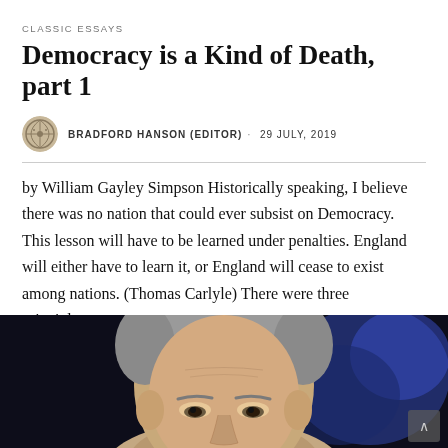CLASSIC ESSAYS
Democracy is a Kind of Death, part 1
BRADFORD HANSON (EDITOR) · 29 JULY, 2019
by William Gayley Simpson Historically speaking, I believe there was no nation that could ever subsist on Democracy. This lesson will have to be learned under penalties. England will either have to learn it, or England will cease to exist among nations. (Thomas Carlyle) There were three principles…
READ MORE →
[Figure (photo): Close-up portrait of an elderly man with grey hair against a dark blue/purple background]